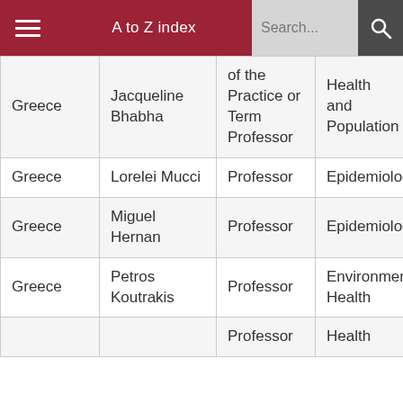A to Z index | Search...
| Country | Name | Title | Department |
| --- | --- | --- | --- |
| Greece | Jacqueline Bhabha | of the Practice or Term Professor | Health and Population |
| Greece | Lorelei Mucci | Professor | Epidemiology |
| Greece | Miguel Hernan | Professor | Epidemiology |
| Greece | Petros Koutrakis | Professor | Environmental Health |
|  |  | Professor | Health |